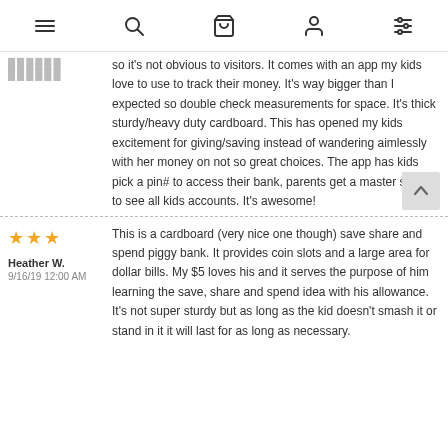Navigation icons: menu, search, bag, account, filters
so it's not obvious to visitors. It comes with an app my kids love to use to track their money. It's way bigger than I expected so double check measurements for space. It's thick sturdy/heavy duty cardboard. This has opened my kids excitement for giving/saving instead of wandering aimlessly with her money on not so great choices. The app has kids pick a pin# to access their bank, parents get a master setting to see all kids accounts. It's awesome!
★★★
Heather W.
9/16/19 12:00 AM
This is a cardboard (very nice one though) save share and spend piggy bank. It provides coin slots and a large area for dollar bills. My $5 loves his and it serves the purpose of him learning the save, share and spend idea with his allowance. It's not super sturdy but as long as the kid doesn't smash it or stand in it it will last for as long as necessary.